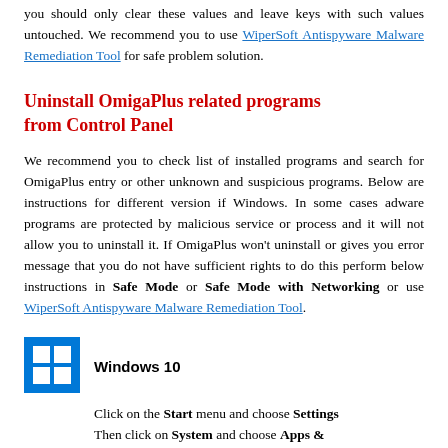you should only clear these values and leave keys with such values untouched. We recommend you to use WiperSoft Antispyware Malware Remediation Tool for safe problem solution.
Uninstall OmigaPlus related programs from Control Panel
We recommend you to check list of installed programs and search for OmigaPlus entry or other unknown and suspicious programs. Below are instructions for different version if Windows. In some cases adware programs are protected by malicious service or process and it will not allow you to uninstall it. If OmigaPlus won't uninstall or gives you error message that you do not have sufficient rights to do this perform below instructions in Safe Mode or Safe Mode with Networking or use WiperSoft Antispyware Malware Remediation Tool.
[Figure (logo): Windows 10 logo icon - blue square with white Windows symbol]
Windows 10
Click on the Start menu and choose Settings
Then click on System and choose Apps &